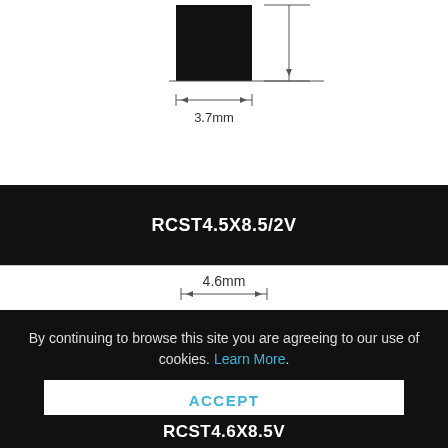[Figure (engineering-diagram): Top view engineering diagram of component showing 3.7mm width dimension with measurement arrows and a black square shape]
RCST4.5X8.5/2V
[Figure (engineering-diagram): Side view engineering diagram showing component with 4.6mm width and 3.8mm height dimensions with measurement arrows, black arch/dome shape]
By continuing to browse this site you are agreeing to our use of cookies. Learn More.
ACCEPT
RCST4.6X8.5V